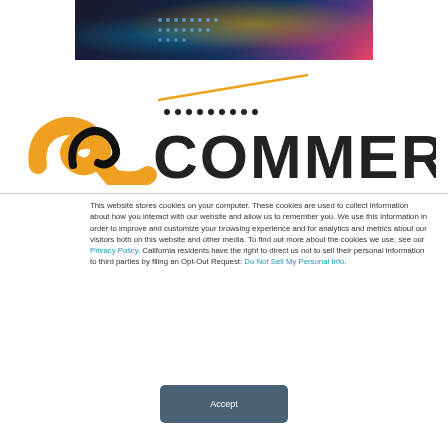[Figure (photo): Partial photo of a person wearing colorful LED lights, cropped at top of page]
[Figure (logo): eCommerce logo with orange swoosh/figure and stylized COMMERCE text with dots above letters]
This website stores cookies on your computer. These cookies are used to collect information about how you interact with our website and allow us to remember you. We use this information in order to improve and customize your browsing experience and for analytics and metrics about our visitors both on this website and other media. To find out more about the cookies we use, see our Privacy Policy. California residents have the right to direct us not to sell their personal information to third parties by filing an Opt-Out Request: Do Not Sell My Personal Info.
Accept